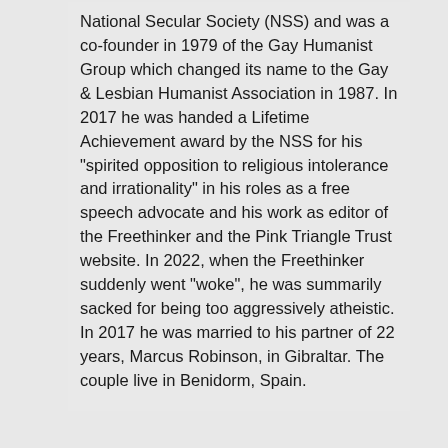National Secular Society (NSS) and was a co-founder in 1979 of the Gay Humanist Group which changed its name to the Gay & Lesbian Humanist Association in 1987. In 2017 he was handed a Lifetime Achievement award by the NSS for his "spirited opposition to religious intolerance and irrationality" in his roles as a free speech advocate and his work as editor of the Freethinker and the Pink Triangle Trust website. In 2022, when the Freethinker suddenly went "woke", he was summarily sacked for being too aggressively atheistic. In 2017 he was married to his partner of 22 years, Marcus Robinson, in Gibraltar. The couple live in Benidorm, Spain.